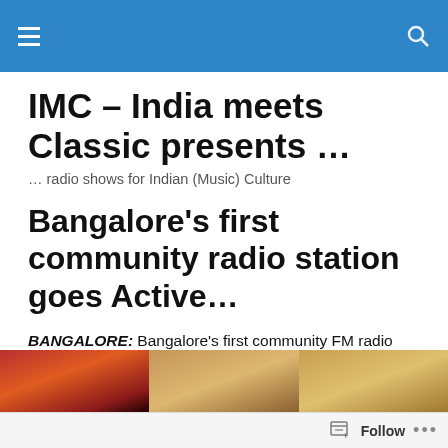IMC – India meets Classic presents … … radio shows for Indian (Music) Culture
IMC – India meets Classic presents …
… radio shows for Indian (Music) Culture
Bangalore's first community radio station goes Active…
BANGALORE: Bangalore's first community FM radio station, Radio Active 107.8 (RA), hit the airwaves on Monday.
[Figure (photo): Three partially visible images in a row at the bottom of the page]
Follow